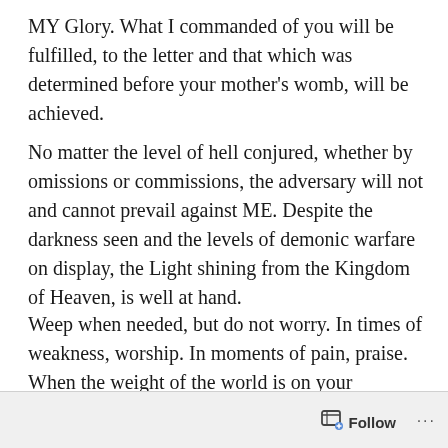MY Glory. What I commanded of you will be fulfilled, to the letter and that which was determined before your mother’s womb, will be achieved.
No matter the level of hell conjured, whether by omissions or commissions, the adversary will not and cannot prevail against ME. Despite the darkness seen and the levels of demonic warfare on display, the Light shining from the Kingdom of Heaven, is well at hand.
Weep when needed, but do not worry. In times of weakness, worship. In moments of pain, praise. When the weight of the world is on your shoulders, dig into the word. Use the creative power in your lungs to speak vitality, speak peace and to speak MY promises.
Follow ...